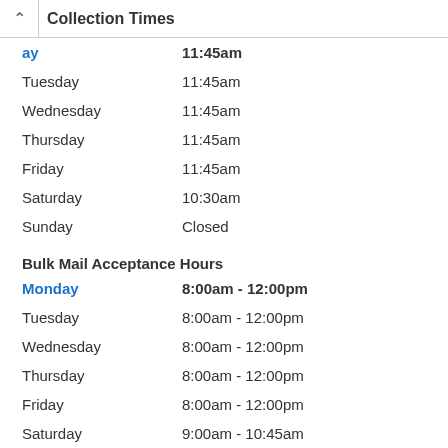Collection Times
Monday  11:45am
Tuesday  11:45am
Wednesday  11:45am
Thursday  11:45am
Friday  11:45am
Saturday  10:30am
Sunday  Closed
Bulk Mail Acceptance Hours
Monday  8:00am - 12:00pm
Tuesday  8:00am - 12:00pm
Wednesday  8:00am - 12:00pm
Thursday  8:00am - 12:00pm
Friday  8:00am - 12:00pm
Saturday  9:00am - 10:45am
Sunday  Closed
*This facility does not process US Passports applications or renewals. Check nearby locations below.